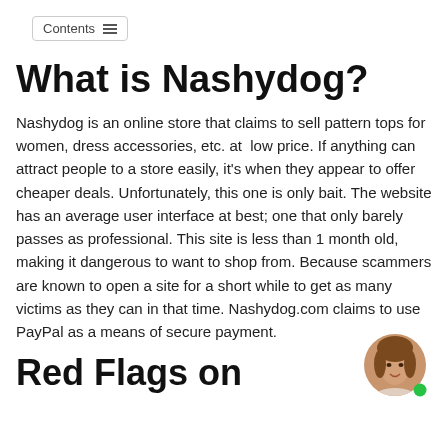Contents
What is Nashydog?
Nashydog is an online store that claims to sell pattern tops for women, dress accessories, etc. at  low price. If anything can attract people to a store easily, it's when they appear to offer cheaper deals. Unfortunately, this one is only bait. The website has an average user interface at best; one that only barely passes as professional. This site is less than 1 month old, making it dangerous to want to shop from. Because scammers are known to open a site for a short while to get as many victims as they can in that time. Nashydog.com claims to use PayPal as a means of secure payment.
[Figure (photo): Small circular avatar photo of a young woman with brown hair, with a green online status dot in the bottom-right corner.]
Red Flags on